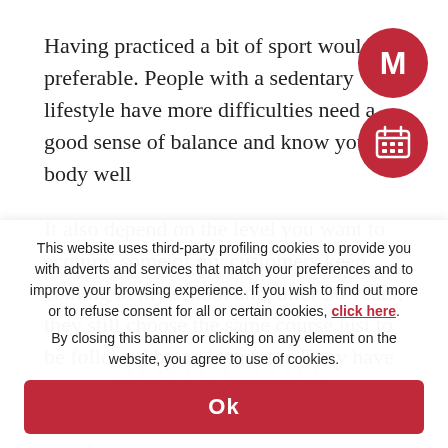Having practiced a bit of sport would be preferable. People with a sedentary lifestyle have more difficulties need a good sense of balance and know your body well
It also depend on the level you want to acquire; some of my customers keep coming to my school and, after 30 years, they still choose the same course just to be followed by an instructor. They have an intermediate level and this will not change but they are happy as they are not alone
and they feel safe
This website uses third-party profiling cookies to provide you with adverts and services that match your preferences and to improve your browsing experience. If you wish to find out more or to refuse consent for all or certain cookies, click here. By closing this banner or clicking on any element on the website, you agree to use of cookies.
Ok